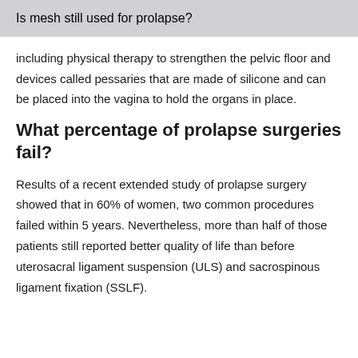Is mesh still used for prolapse?
including physical therapy to strengthen the pelvic floor and devices called pessaries that are made of silicone and can be placed into the vagina to hold the organs in place.
What percentage of prolapse surgeries fail?
Results of a recent extended study of prolapse surgery showed that in 60% of women, two common procedures failed within 5 years. Nevertheless, more than half of those patients still reported better quality of life than before uterosacral ligament suspension (ULS) and sacrospinous ligament fixation (SSLF).